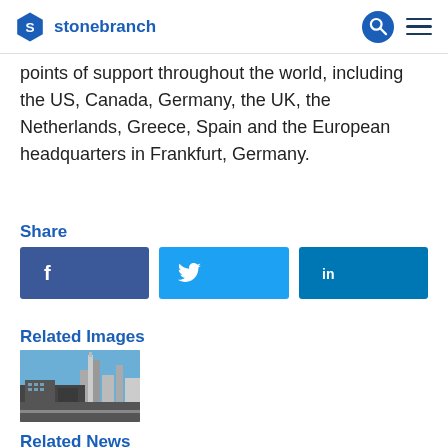stonebranch
points of support throughout the world, including the US, Canada, Germany, the UK, the Netherlands, Greece, Spain and the European headquarters in Frankfurt, Germany.
Share
[Figure (infographic): Three social share buttons: Facebook (f), Twitter (bird icon), LinkedIn (in)]
Related Images
[Figure (photo): Aerial/panoramic photo of a city skyline with buildings and a road, blue sky.]
Related News